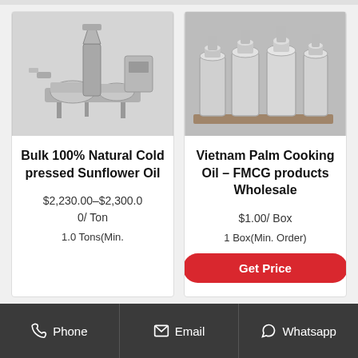[Figure (photo): Industrial cold press oil extraction machine, metallic silver color]
Bulk 100% Natural Cold pressed Sunflower Oil
$2,230.00–$2,300.00/ Ton
1.0 Tons(Min.
[Figure (photo): Multiple stainless steel hydraulic oil press machines on a pallet]
Vietnam Palm Cooking Oil – FMCG products Wholesale
$1.00/ Box
1 Box(Min. Order)
Get Price
Phone   Email   Whatsapp